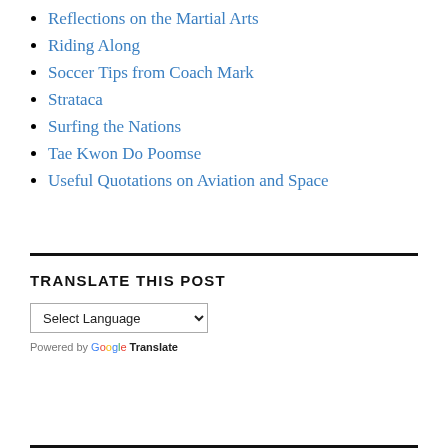Reflections on the Martial Arts
Riding Along
Soccer Tips from Coach Mark
Strataca
Surfing the Nations
Tae Kwon Do Poomse
Useful Quotations on Aviation and Space
TRANSLATE THIS POST
Select Language (dropdown) Powered by Google Translate